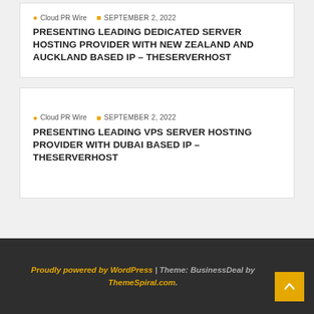Cloud PR Wire   SEPTEMBER 2, 2022
PRESENTING LEADING DEDICATED SERVER HOSTING PROVIDER WITH NEW ZEALAND AND AUCKLAND BASED IP – THESERVERHOST
Cloud PR Wire   SEPTEMBER 2, 2022
PRESENTING LEADING VPS SERVER HOSTING PROVIDER WITH DUBAI BASED IP – THESERVERHOST
Proudly powered by WordPress | Theme: BusinessDeal by ThemeSpiral.com.